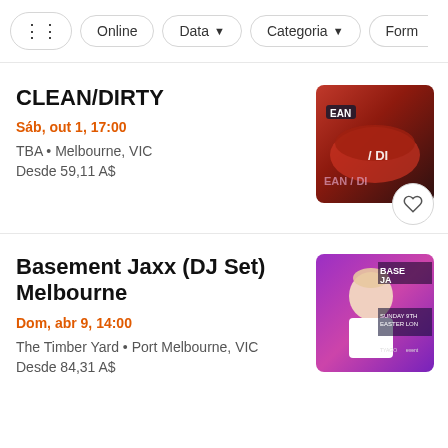Filter bar: [icon] Online | Data ▾ | Categoria ▾ | Form…
CLEAN/DIRTY
Sáb, out 1, 17:00
TBA • Melbourne, VIC
Desde 59,11 A$
[Figure (photo): Event promo image for CLEAN/DIRTY showing lips/tongue with text EAN / DI]
Basement Jaxx (DJ Set) Melbourne
Dom, abr 9, 14:00
The Timber Yard • Port Melbourne, VIC
Desde 84,31 A$
[Figure (photo): Event promo image for Basement Jaxx DJ Set showing a man in white shirt with purple/pink background and text BASE JA, SUNDAY 9TH EASTER LON, TYAGO, event]